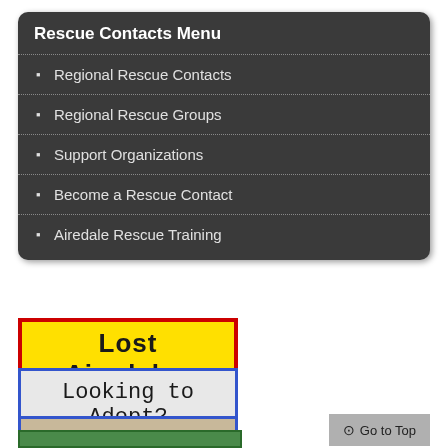Rescue Contacts Menu
Regional Rescue Contacts
Regional Rescue Groups
Support Organizations
Become a Rescue Contact
Airedale Rescue Training
[Figure (other): Yellow button with red border reading 'Lost Airedales']
[Figure (other): Light gray button with blue border reading 'Looking to Adopt?']
[Figure (other): Tan/beige button with blue border reading 'Microchips']
[Figure (other): Gray 'Go to Top' button with arrow icon]
[Figure (other): Partially visible green button at bottom]